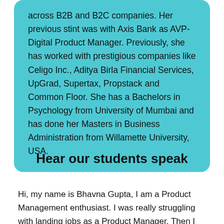across B2B and B2C companies. Her previous stint was with Axis Bank as AVP- Digital Product Manager. Previously, she has worked with prestigious companies like Celigo Inc., Aditya Birla Financial Services, UpGrad, Supertax, Propstack and Common Floor. She has a Bachelors in Psychology from University of Mumbai and has done her Masters in Business Administration from Willamette University, USA.
Hear our students speak
Hi, my name is Bhavna Gupta, I am a Product Management enthusiast. I was really struggling with landing jobs as a Product Manager. Then I